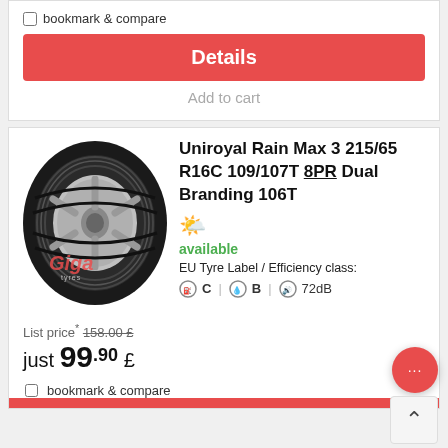bookmark & compare
Details
Add to cart
[Figure (photo): Uniroyal Rain Max 3 tyre product photo with Giga Tyres watermark]
Uniroyal Rain Max 3 215/65 R16C 109/107T 8PR Dual Branding 106T
available
EU Tyre Label / Efficiency class:
C | B | 72dB
List price* 158.00 £
just 99.90 £
bookmark & compare